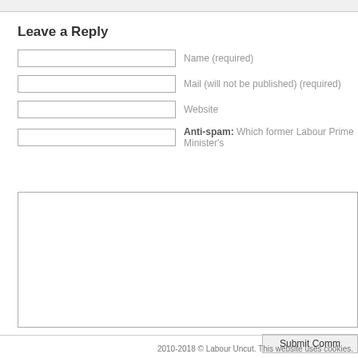Leave a Reply
Name (required)
Mail (will not be published) (required)
Website
Anti-spam: Which former Labour Prime Minister's
2010-2018 © Labour Uncut. This website uses cookies.